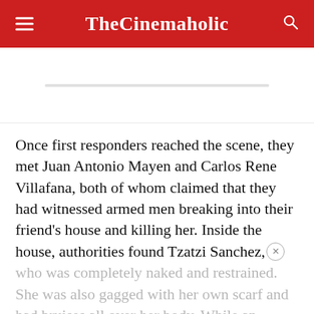TheCinemaholic
Once first responders reached the scene, they met Juan Antonio Mayen and Carlos Rene Villafana, both of whom claimed that they had witnessed armed men breaking into their friend's house and killing her. Inside the house, authorities found Tzatzi Sanchez, who was completely naked and restrained. She was also gagged with her own scarf and had bruises all over her body. While an